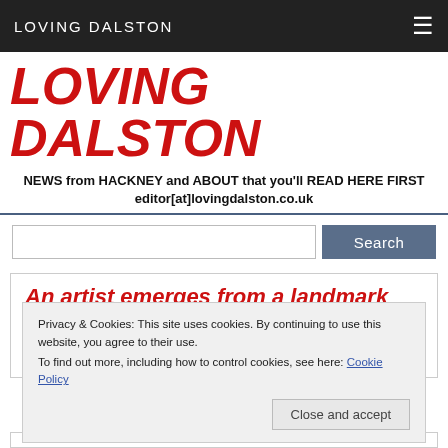LOVING DALSTON
LOVING DALSTON
NEWS from HACKNEY and ABOUT that you'll READ HERE FIRST editor[at]lovingdalston.co.uk
An artist emerges from a landmark Dalston house
Privacy & Cookies: This site uses cookies. By continuing to use this website, you agree to their use. To find out more, including how to control cookies, see here: Cookie Policy
Close and accept